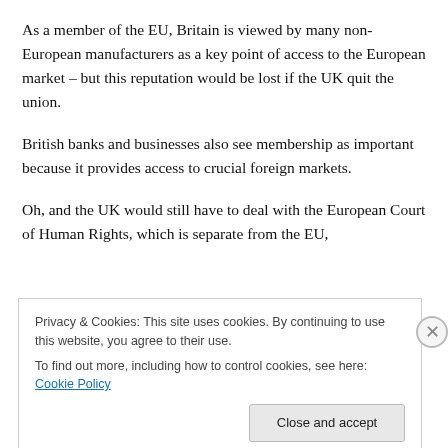As a member of the EU, Britain is viewed by many non-European manufacturers as a key point of access to the European market – but this reputation would be lost if the UK quit the union.
British banks and businesses also see membership as important because it provides access to crucial foreign markets.
Oh, and the UK would still have to deal with the European Court of Human Rights, which is separate from the EU,
Privacy & Cookies: This site uses cookies. By continuing to use this website, you agree to their use.
To find out more, including how to control cookies, see here: Cookie Policy